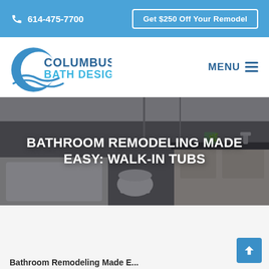614-475-7700  |  Get $250 Off Your Remodel
[Figure (logo): Columbus Bath Design logo - crescent wave graphic with COLUMBUS BATH DESIGN text in blue]
MENU
[Figure (photo): Bathroom interior showing a bathtub, toilet, and vanity with dark countertop, overlaid with title text: BATHROOM REMODELING MADE EASY: WALK-IN TUBS]
BATHROOM REMODELING MADE EASY: WALK-IN TUBS
Bathroom Remodeling Made E...